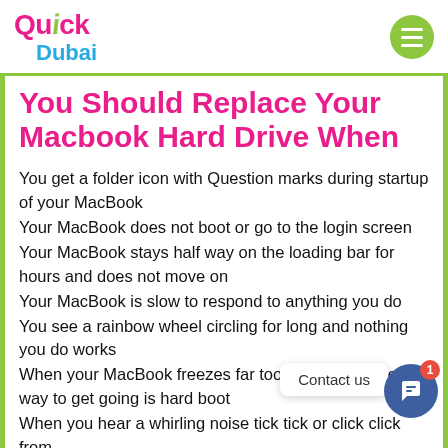Quick Dubai
You Should Replace Your Macbook Hard Drive When
You get a folder icon with Question marks during startup of your MacBook
Your MacBook does not boot or go to the login screen
Your MacBook stays half way on the loading bar for hours and does not move on
Your MacBook is slow to respond to anything you do
You see a rainbow wheel circling for long and nothing you do works
When your MacBook freezes far too often and the only way to get going is hard boot
When you hear a whirling noise tick tick or click click from